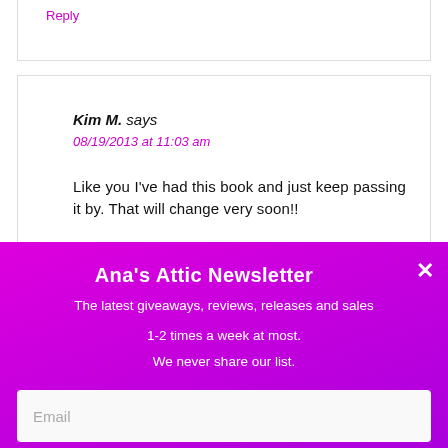Reply
Kim M. says
08/19/2013 at 11:03 am
Like you I've had this book and just keep passing it by. That will change very soon!!
Ana's Attic Newsletter
The latest giveaways, reviews, releases and sales
1-2 times a week at most.
We never share our list.
Email
SUBSCRIBE